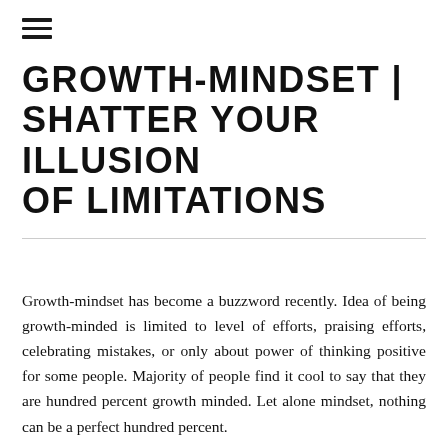[Figure (other): Hamburger menu icon (three horizontal lines)]
GROWTH-MINDSET | SHATTER YOUR ILLUSION OF LIMITATIONS
Growth-mindset has become a buzzword recently. Idea of being growth-minded is limited to level of efforts, praising efforts, celebrating mistakes, or only about power of thinking positive for some people. Majority of people find it cool to say that they are hundred percent growth minded. Let alone mindset, nothing can be a perfect hundred percent.